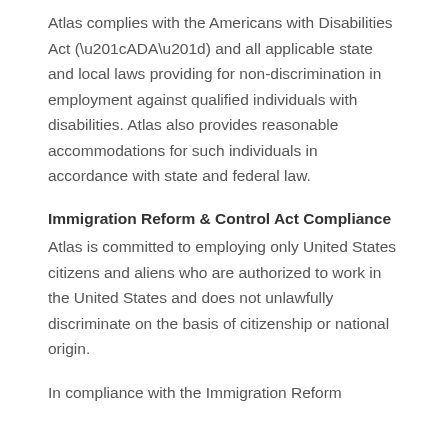Atlas complies with the Americans with Disabilities Act (“ADA”) and all applicable state and local laws providing for non-discrimination in employment against qualified individuals with disabilities. Atlas also provides reasonable accommodations for such individuals in accordance with state and federal law.
Immigration Reform & Control Act Compliance
Atlas is committed to employing only United States citizens and aliens who are authorized to work in the United States and does not unlawfully discriminate on the basis of citizenship or national origin.
In compliance with the Immigration Reform